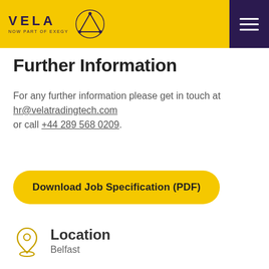VELA NOW PART OF EXEGY
Further Information
For any further information please get in touch at hr@velatradingtech.com or call +44 289 568 0209.
Download Job Specification (PDF)
Location
Belfast